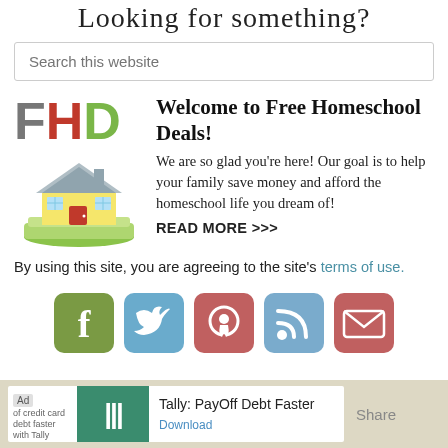Looking for something?
Search this website
[Figure (logo): FHD logo with F in gray, H in red, D in green, and a house illustration on a pile of money]
Welcome to Free Homeschool Deals!
We are so glad you're here! Our goal is to help your family save money and afford the homeschool life you dream of!
READ MORE >>>
By using this site, you are agreeing to the site's terms of use.
[Figure (infographic): Social media icons: Facebook, Twitter, Pinterest, RSS, Email]
[Figure (infographic): Ad banner: Tally: PayOff Debt Faster with Download link]